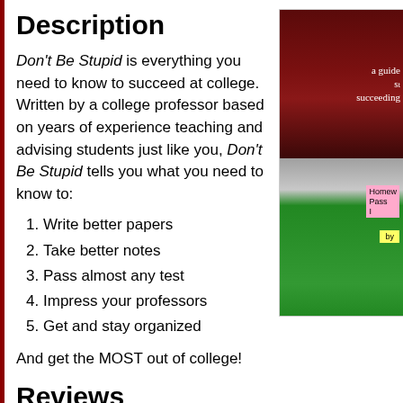Description
Don't Be Stupid is everything you need to know to succeed at college. Written by a college professor based on years of experience teaching and advising students just like you, Don't Be Stupid tells you what you need to know to:
Write better papers
Take better notes
Pass almost any test
Impress your professors
Get and stay organized
And get the MOST out of college!
Reviews
“The best thing about Dustin’s book is that it teaches skills that you’ll need for a lifetime, whether you decide to pursue graduate study or not. He offers staying organized, taking short notes that trigger the memory of what was said, reading a book and actually understanding it,
[Figure (photo): Book cover and notebook photo partially visible on the right side of the page]